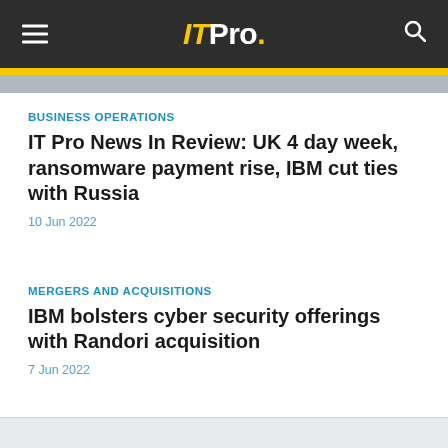ITPro.
BUSINESS OPERATIONS
IT Pro News In Review: UK 4 day week, ransomware payment rise, IBM cut ties with Russia
10 Jun 2022
MERGERS AND ACQUISITIONS
IBM bolsters cyber security offerings with Randori acquisition
7 Jun 2022
HARDWARE